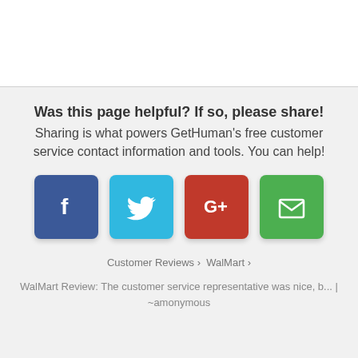Was this page helpful? If so, please share!
Sharing is what powers GetHuman's free customer service contact information and tools. You can help!
[Figure (infographic): Four social sharing buttons: Facebook (dark blue), Twitter (light blue), Google+ (red), Email (green)]
Customer Reviews › WalMart ›
WalMart Review: The customer service representative was nice, b... | ~amonymous